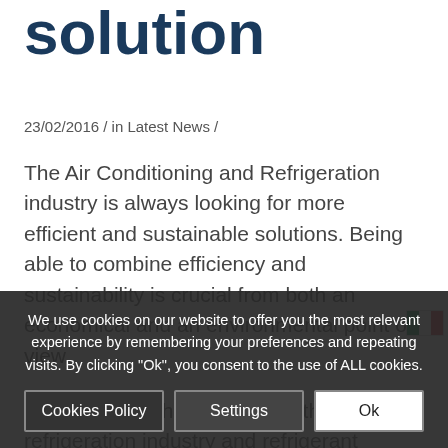solution
23/02/2016 / in Latest News /
The Air Conditioning and Refrigeration industry is always looking for more efficient and sustainable solutions. Being able to combine efficiency and sustainability is crucial from both an economical and an environmental point of view.
The evolution that is affecting the refrigeration industry and refrigerant products is the result of the continuous updating of international agreements. These agreements, designed to encourage manufacturers to reduce global warming.
After the recent update of the European F-Gas
We use cookies on our website to offer you the most relevant experience by remembering your preferences and repeating visits. By clicking "Ok", you consent to the use of ALL cookies.